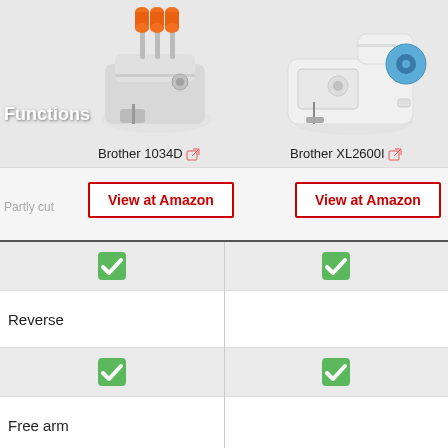[Figure (photo): Brother 1034D serger sewing machine with orange thread spools]
[Figure (photo): Brother XL2600I sewing machine in white and blue]
Brother 1034D
Brother XL2600I
View at Amazon
View at Amazon
Functions
| Feature | Brother 1034D | Brother XL2600I |
| --- | --- | --- |
| (Partly cut off) | ✓ | ✓ |
| Reverse |  |  |
| Reverse check | ✓ | ✓ |
| Free arm |  |  |
| Free arm check | ✓ | ✓ |
| Quilting stitch |  |  |
| Quilting stitch check | ✗ | ✓ |